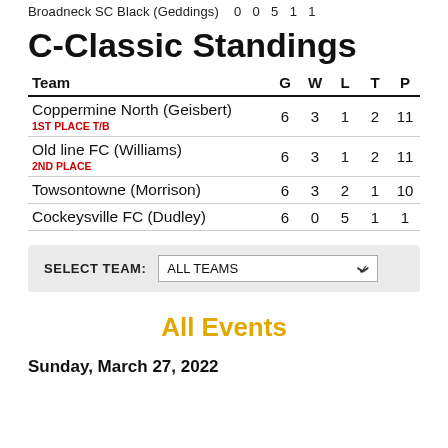Broadneck SC Black (Geddings)  0  0  5  1  1
C-Classic Standings
| Team | G | W | L | T | P |
| --- | --- | --- | --- | --- | --- |
| Coppermine North (Geisbert)
1ST PLACE T/B | 6 | 3 | 1 | 2 | 11 |
| Old line FC (Williams)
2ND PLACE | 6 | 3 | 1 | 2 | 11 |
| Towsontowne (Morrison) | 6 | 3 | 2 | 1 | 10 |
| Cockeysville FC (Dudley) | 6 | 0 | 5 | 1 | 1 |
SELECT TEAM: ALL TEAMS
All Events
Sunday, March 27, 2022